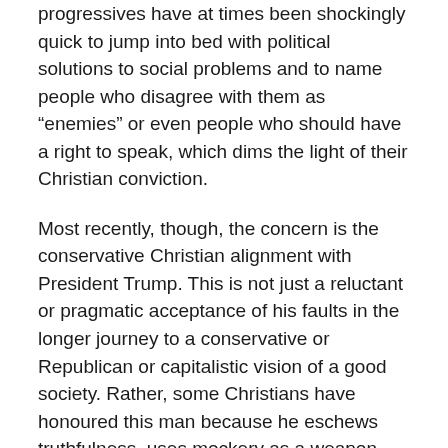progressives have at times been shockingly quick to jump into bed with political solutions to social problems and to name people who disagree with them as “enemies” or even people who should have a right to speak, which dims the light of their Christian conviction.
Most recently, though, the concern is the conservative Christian alignment with President Trump. This is not just a reluctant or pragmatic acceptance of his faults in the longer journey to a conservative or Republican or capitalistic vision of a good society. Rather, some Christians have honoured this man because he eschews truthfulness, uses mockery as a weapon, winks at racism and sexism, and refuses to listen to his counsellors. Conservative Christian credibility is at Scopes Monkey Trial levels from the 1920s, a moment in history where Bible-believing Christians look foolish in the national eye.